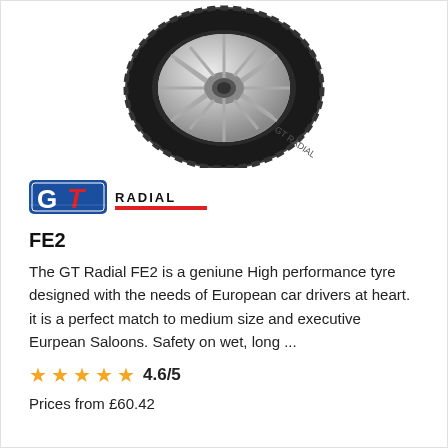[Figure (photo): A GT Radial FE2 tyre photographed at an angle showing the tread and alloy wheel rim against a white background.]
[Figure (logo): GT Radial logo with bold blue 'GT' letters and red italic 'RADIAL' text with a red underline stripe.]
FE2
The GT Radial FE2 is a geniune High performance tyre designed with the needs of European car drivers at heart. it is a perfect match to medium size and executive Eurpean Saloons. Safety on wet, long ...
4.6/5
Prices from £60.42